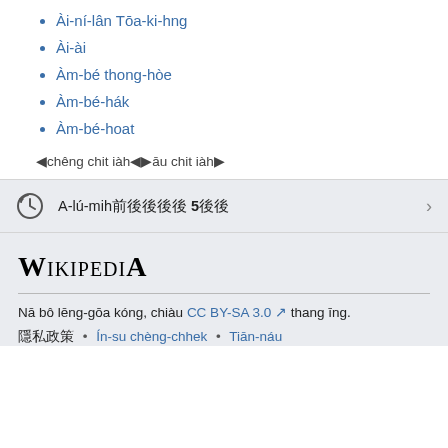Ài-ní-lân Tōa-ki-hng
Ài-ài
Àm-bé thong-hòe
Àm-bé-hák
Àm-bé-hoat
◀chêng chit iàh◀▶āu chit iàh▶
A-lú-mih 前後後後後 5後後
Wikipedia
Nā bô lēng-gōa kóng, chiàu CC BY-SA 3.0 thang īng.
隱私政策 • Ín-su chèng-chhek • Tiān-náu